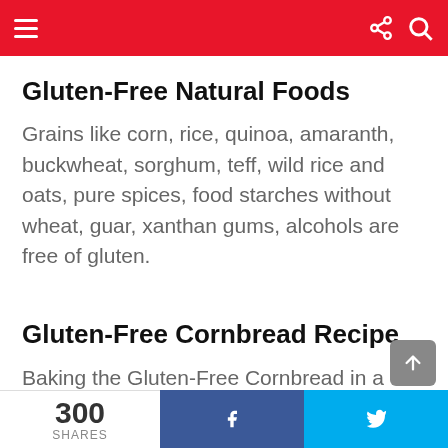Navigation bar with menu, share, and search icons
Gluten-Free Natural Foods
Grains like corn, rice, quinoa, amaranth, buckwheat, sorghum, teff, wild rice and oats, pure spices, food starches without wheat, guar, xanthan gums, alcohols are free of gluten.
Gluten-Free Cornbread Recipe
Baking the Gluten-Free Cornbread in a cast-iron skillet will form the most distinctive crust to make your experience delightfully versatile.
300 SHARES — Facebook share — Twitter share